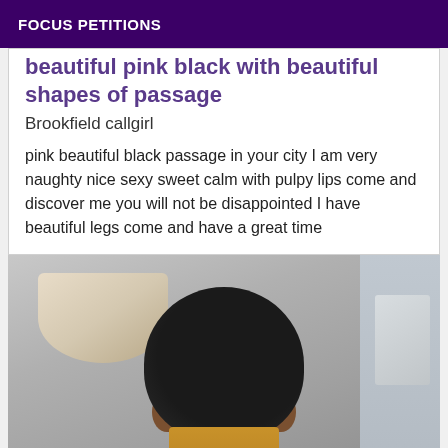FOCUS PETITIONS
beautiful pink black with beautiful shapes of passage
Brookfield callgirl
pink beautiful black passage in your city I am very naughty nice sexy sweet calm with pulpy lips come and discover me you will not be disappointed I have beautiful legs come and have a great time
[Figure (photo): Photo of a person with curly black hair seen from behind, wearing an orange/yellow striped top, with a lamp shade visible in the upper left and a wall element visible to the right]